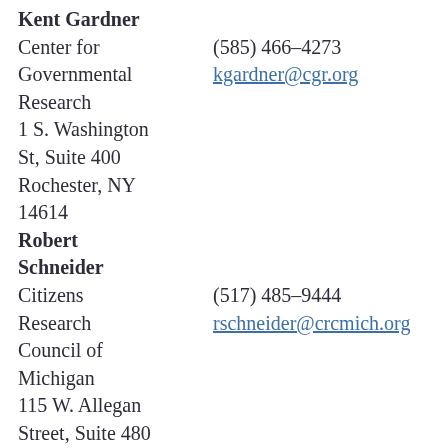Kent Gardner
Center for Governmental Research
1 S. Washington St, Suite 400
Rochester, NY
14614
(585) 466-4273
kgardner@cgr.org
Robert Schneider
Citizens Research Council of Michigan
115 W. Allegan Street, Suite 480
Lansing, MI
48933
(517) 485-9444
rschneider@crcmich.org